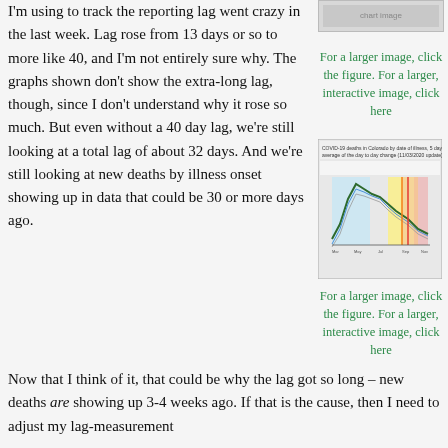I'm using to track the reporting lag went crazy in the last week. Lag rose from 13 days or so to more like 40, and I'm not entirely sure why. The graphs shown don't show the extra-long lag, though, since I don't understand why it rose so much. But even without a 40 day lag, we're still looking at a total lag of about 32 days. And we're still looking at new deaths by illness onset showing up in data that could be 30 or more days ago.
[Figure (screenshot): Partial/cropped chart image, appears to be a COVID-19 data graph (top portion visible)]
For a larger image, click the figure. For a larger, interactive image, click here
[Figure (screenshot): COVID-19 deaths in Colorado by date of illness, 5 day windowed average of the day to day change (11/03/2020 update). Line chart with colored background regions (blue, yellow, red) showing epidemic curve over time from March to November 2020.]
For a larger image, click the figure. For a larger, interactive image, click here
Now that I think of it, that could be why the lag got so long – new deaths are showing up 3-4 weeks ago. If that is the cause, then I need to adjust my lag-measurement